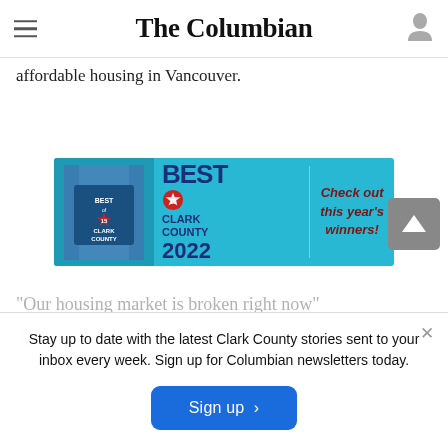least able tenants from displacement, as well as encourage the construction of more affordable housing in Vancouver.
The Columbian
[Figure (other): Advertisement banner for Best of Clark County 2022 with teal background, showing a book/award graphic on the left, BEST of 15 CLARK COUNTY 2022 text in the middle, and 'Check out this year's winners!' in cursive on the right.]
Stay up to date with the latest Clark County stories sent to your inbox every week. Sign up for Columbian newsletters today.
"Our housing market is broken right now"
Andy Silver, the executive director of the